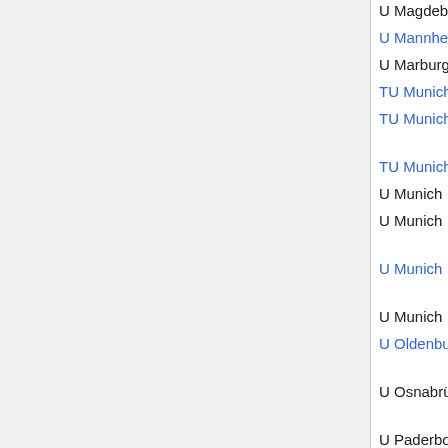| Institution | Field (Level) | Deadline | Notes |
| --- | --- | --- | --- |
| U Magdeburg | algebra (W2) | expired |  |
| U Mannheim | financial (W3) | Sep 15 |  |
| U Marburg | stoch (W2) | Jan 2 |  |
| TU Munich | math phys (W3) | Apr 1 |  |
| TU Munich | numer anal (W3) | Apr 1 |  |
| TU Munich | financial (W3) | Apr 30 |  |
| U Munich | applied (W2/tt) | Jan 31 |  |
| U Munich | applied/stoch (W3) | Oct 31 |  |
| U Munich | applied/stoch (W2/tt) | Apr 22 |  |
| U Munich | stat (W2) | Apr 14 |  |
| U Oldenburg | comp, discrete (W3) | Mar 13 |  |
| U Osnabrück | applied, numer anal (W2) | Dec 31 |  |
| U Paderborn | analysis (W2) | Jan 28 |  |
| U Paderborn | num thy (W2) | Dec 5 |  |
| U Paderborn | discrete (W3) | expired | Jürge Klün |